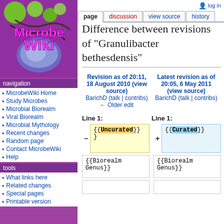[Figure (logo): MicrobeWiki logo with purple background, green circular microbes, and pink/magenta stylized text reading 'Microbe Wiki']
navigation
MicrobeWiki Home
Study Microbes
Microbial Biorealm
Viral Biorealm
Microbial Mythology
Recent changes
Random page
Contact MicrobeWiki
Help
tools
What links here
Related changes
Special pages
Printable version
Difference between revisions of "Granulibacter bethesdensis"
Revision as of 20:11, 18 August 2010 (view source) BarichD (talk | contribs) ← Older edit
Latest revision as of 20:05, 6 May 2011 (view source) BarichD (talk | contribs)
Line 1:
Line 1:
{{Uncurated}}
{{Curated}}
{{Biorealm Genus}}
{{Biorealm Genus}}